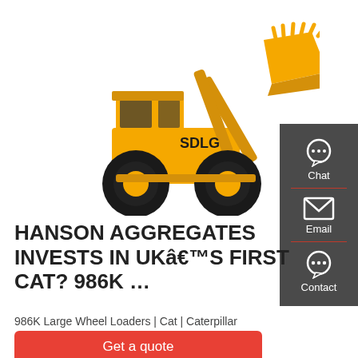[Figure (photo): Yellow SDLG wheel loader with raised bucket on white background]
[Figure (infographic): Dark grey sidebar with Chat, Email, and Contact icons and labels, separated by red dividers]
HANSON AGGREGATES INVESTS IN UKâ€™S FIRST CAT? 986K …
986K Large Wheel Loaders | Cat | Caterpillar
Get a quote